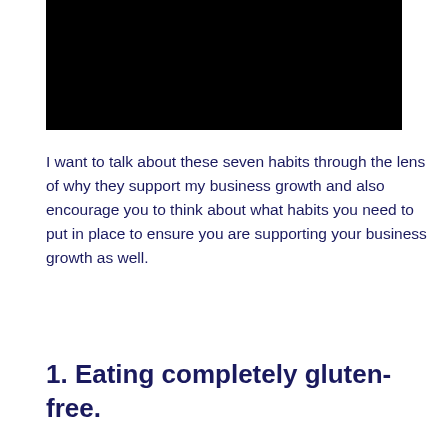[Figure (photo): Black rectangular image at the top of the page]
I want to talk about these seven habits through the lens of why they support my business growth and also encourage you to think about what habits you need to put in place to ensure you are supporting your business growth as well.
1. Eating completely gluten-free.